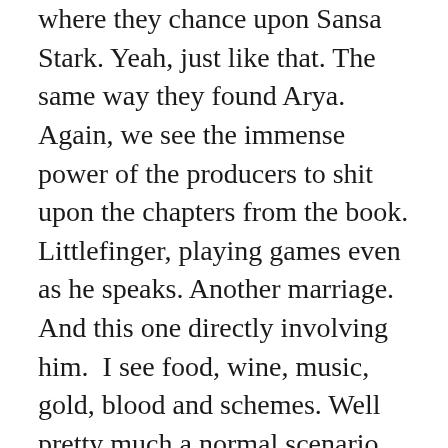where they chance upon Sansa Stark. Yeah, just like that. The same way they found Arya. Again, we see the immense power of the producers to shit upon the chapters from the book. Littlefinger, playing games even as he speaks. Another marriage. And this one directly involving him.  I see food, wine, music, gold, blood and schemes. Well pretty much a normal scenario for us fans. But one thing is for certain. The sansa we knew is gone. This new improved version of her is far more appealing and lucrative than the previous one. We see oath-keeper in action. I mean REAL action when it cuts through the steel swords and armour like butter. Podrick charming and dumb as ever.